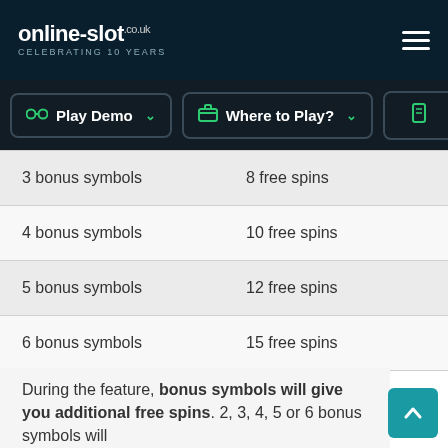online-slot.co.uk CELEBRATING 10 YEARS
| 3 bonus symbols | 8 free spins |
| 4 bonus symbols | 10 free spins |
| 5 bonus symbols | 12 free spins |
| 6 bonus symbols | 15 free spins |
During the feature, bonus symbols will give you additional free spins. 2, 3, 4, 5 or 6 bonus symbols will